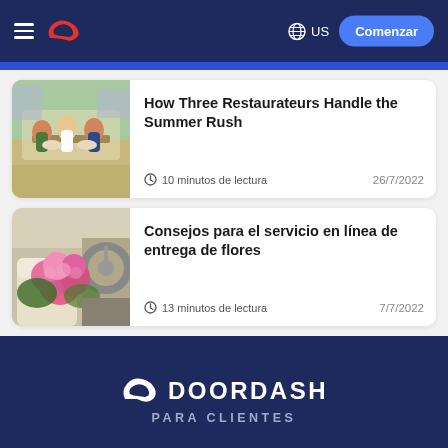DoorDash navigation bar with hamburger menu, DoorDash logo, globe/US selector, and Comenzar button
How Three Restaurateurs Handle the Summer Rush — 10 minutos de lectura — 26/7/2022
Consejos para el servicio en línea de entrega de flores — 13 minutos de lectura — 7/7/2022
DOORDASH PARA CLIENTES